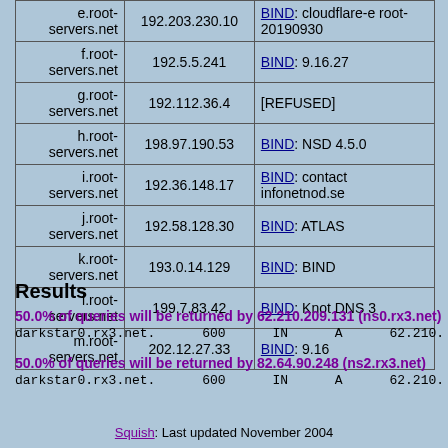| Server | IP Address | Software |
| --- | --- | --- |
| e.root-servers.net | 192.203.230.10 | BIND: cloudflare-e root-20190930 |
| f.root-servers.net | 192.5.5.241 | BIND: 9.16.27 |
| g.root-servers.net | 192.112.36.4 | [REFUSED] |
| h.root-servers.net | 198.97.190.53 | BIND: NSD 4.5.0 |
| i.root-servers.net | 192.36.148.17 | BIND: contact infonetnod.se |
| j.root-servers.net | 192.58.128.30 | BIND: ATLAS |
| k.root-servers.net | 193.0.14.129 | BIND: BIND |
| l.root-servers.net | 199.7.83.42 | BIND: Knot DNS 3 |
| m.root-servers.net | 202.12.27.33 | BIND: 9.16 |
Results
50.0% of queries will be returned by 62.210.209.131 (ns0.rx3.net)
darkstar0.rx3.net.      600      IN      A      62.210.
50.0% of queries will be returned by 82.64.90.248 (ns2.rx3.net)
darkstar0.rx3.net.      600      IN      A      62.210.
Squish: Last updated November 2004